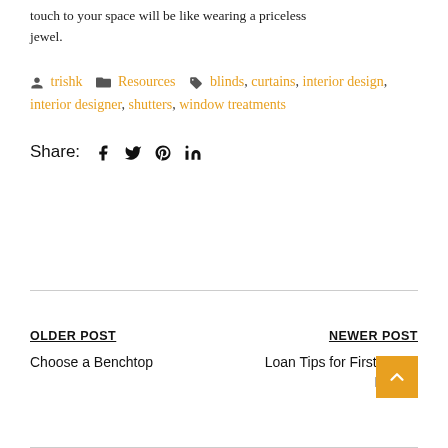touch to your space will be like wearing a priceless jewel.
trishk  Resources  blinds, curtains, interior design, interior designer, shutters, window treatments
Share:
OLDER POST
Choose a Benchtop
NEWER POST
Loan Tips for First Home Buyers